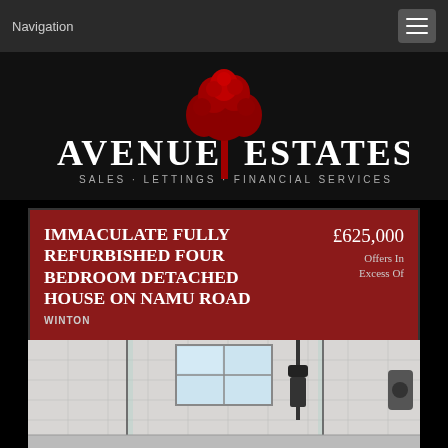Navigation
[Figure (logo): Avenue Estates logo with red tree icon. Text: AVENUE ESTATES SALES · LETTINGS · FINANCIAL SERVICES]
IMMACULATE FULLY REFURBISHED FOUR BEDROOM DETACHED HOUSE ON NAMU ROAD WINTON £625,000 Offers In Excess Of
[Figure (photo): Interior photo of a modern white tiled bathroom with glass shower enclosure, window, and black shower fittings]